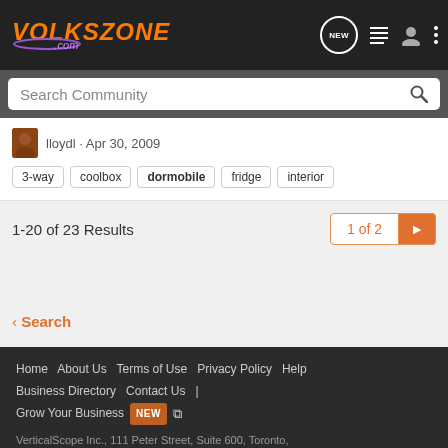VOLKSZONE .com
Search Community
lloydl · Apr 30, 2009
3-way  coolbox  dormobile  fridge  interior
1-20 of 23 Results
1 of 2
< Search
Home | About Us | Terms of Use | Privacy Policy | Help | Business Directory | Contact Us | | Grow Your Business NEW  VerticalScope Inc., 111 Peter Street, Suite 600, Toronto, Ontario, M5V 2H1, Canada